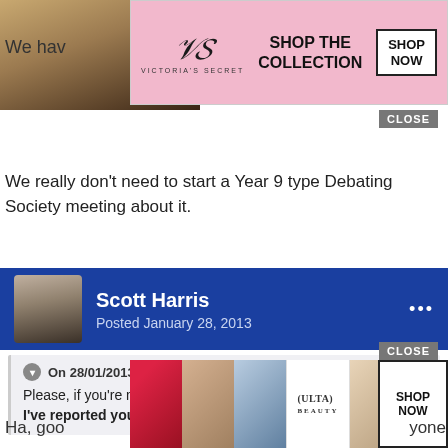[Figure (screenshot): Victoria's Secret advertisement banner with model, logo, SHOP THE COLLECTION text and SHOP NOW button]
We hav
We really don't need to start a Year 9 type Debating Society meeting about it.
Scott Harris
Posted January 28, 2013
On 28/01/2013 at 22:49, sharet314 said:

Please, if you're not interested in discussing the topic don't troll. I've reported your post to the moderators.
[Figure (screenshot): ULTA beauty advertisement banner with makeup imagery and SHOP NOW button]
Ha, goo
yone